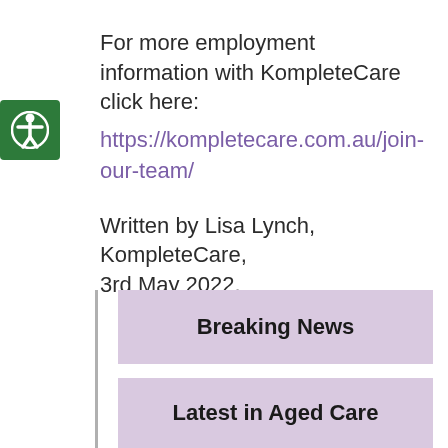For more employment information with KompleteCare click here: https://kompletecare.com.au/join-our-team/
Written by Lisa Lynch, KompleteCare, 3rd May 2022.
Breaking News
Latest in Aged Care